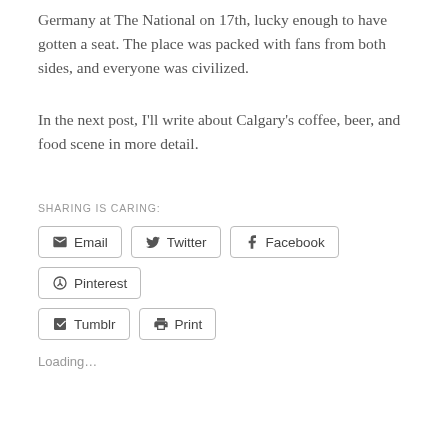Germany at The National on 17th, lucky enough to have gotten a seat. The place was packed with fans from both sides, and everyone was civilized.
In the next post, I'll write about Calgary's coffee, beer, and food scene in more detail.
SHARING IS CARING:
Email  Twitter  Facebook  Pinterest  Tumblr  Print
Loading...